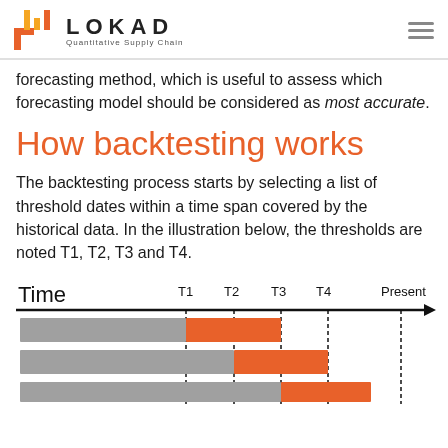LOKAD — Quantitative Supply Chain
forecasting method, which is useful to assess which forecasting model should be considered as most accurate.
How backtesting works
The backtesting process starts by selecting a list of threshold dates within a time span covered by the historical data. In the illustration below, the thresholds are noted T1, T2, T3 and T4.
[Figure (infographic): Timeline diagram showing Time axis with threshold markers T1, T2, T3, T4 and Present. Two rows show gray bars (historical data) and orange bars (forecast windows) starting at different thresholds.]